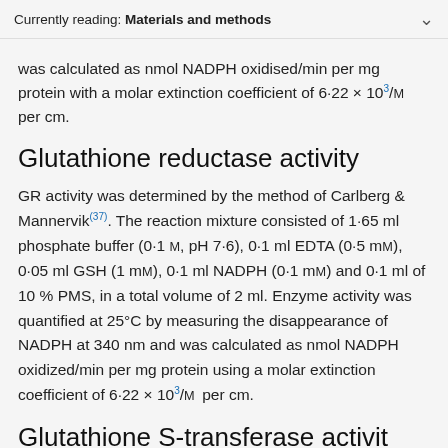Currently reading: Materials and methods
was calculated as nmol NADPH oxidised/min per mg protein with a molar extinction coefficient of 6·22 × 10³/M per cm.
Glutathione reductase activity
GR activity was determined by the method of Carlberg & Mannervik(37). The reaction mixture consisted of 1·65 ml phosphate buffer (0·1 M, pH 7·6), 0·1 ml EDTA (0·5 mM), 0·05 ml GSH (1 mM), 0·1 ml NADPH (0·1 mM) and 0·1 ml of 10 % PMS, in a total volume of 2 ml. Enzyme activity was quantified at 25°C by measuring the disappearance of NADPH at 340 nm and was calculated as nmol NADPH oxidized/min per mg protein using a molar extinction coefficient of 6·22 × 10³/M per cm.
Glutathione S-transferase activity